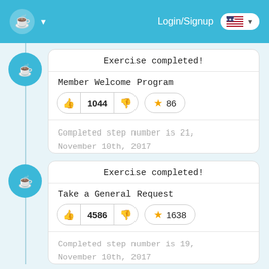Login/Signup
Exercise completed!
Member Welcome Program
1044  86
Completed step number is 21, November 10th, 2017
Exercise completed!
Take a General Request
4586  1638
Completed step number is 19, November 10th, 2017